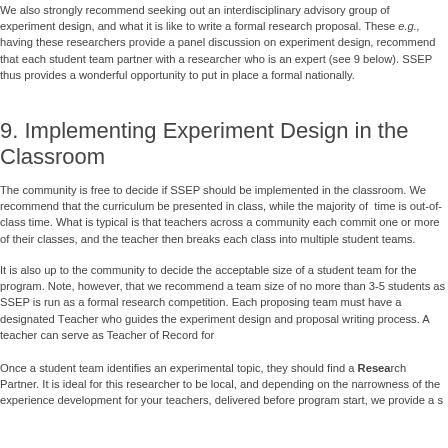We also strongly recommend seeking out an interdisciplinary advisory group of experiment design, and what it is like to write a formal research proposal. These e.g., having these researchers provide a panel discussion on experiment design, recommend that each student team partner with a researcher who is an expert (see 9 below). SSEP thus provides a wonderful opportunity to put in place a formal nationally.
9. Implementing Experiment Design in the Classroom
The community is free to decide if SSEP should be implemented in the classroom. We recommend that the curriculum be presented in class, while the majority of time is out-of-class time. What is typical is that teachers across a community each commit one or more of their classes, and the teacher then breaks each class into multiple student teams.
It is also up to the community to decide the acceptable size of a student team for the program. Note, however, that we recommend a team size of no more than 3-5 students as SSEP is run as a formal research competition. Each proposing team must have a designated Teacher who guides the experiment design and proposal writing process. A teacher can serve as Teacher of Record for
Once a student team identifies an experimental topic, they should find a Research Partner. It is ideal for this researcher to be local, and depending on the narrowness of the experiment development for your teachers, delivered before program start, we provide a s